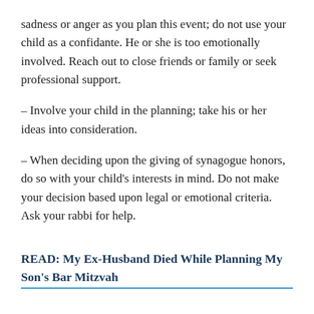sadness or anger as you plan this event; do not use your child as a confidante. He or she is too emotionally involved. Reach out to close friends or family or seek professional support.
– Involve your child in the planning; take his or her ideas into consideration.
– When deciding upon the giving of synagogue honors, do so with your child's interests in mind. Do not make your decision based upon legal or emotional criteria. Ask your rabbi for help.
READ: My Ex-Husband Died While Planning My Son's Bar Mitzvah
– Above all, be a mensch (kind and generous person) and